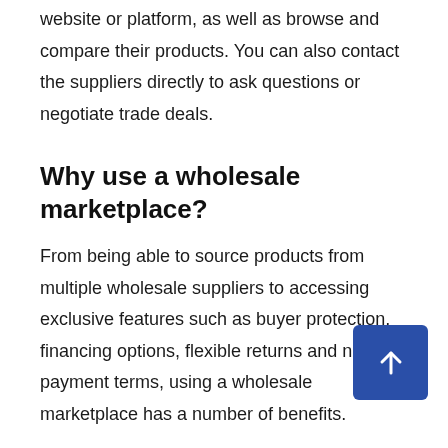website or platform, as well as browse and compare their products. You can also contact the suppliers directly to ask questions or negotiate trade deals.
Why use a wholesale marketplace?
From being able to source products from multiple wholesale suppliers to accessing exclusive features such as buyer protection, financing options, flexible returns and net payment terms, using a wholesale marketplace has a number of benefits.
In fact, using a wholesale marketplace is the best